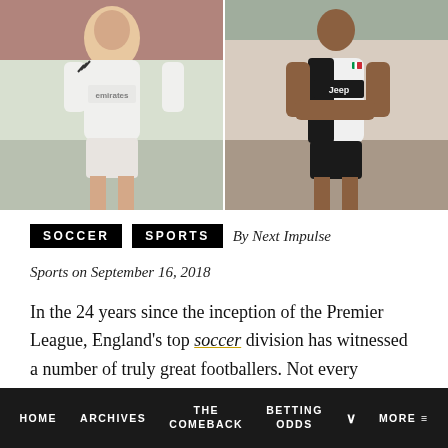[Figure (photo): Two soccer players side by side: left player in Real Madrid white kit (Emirates sponsor), right player in Juventus black and white kit (Jeep sponsor)]
SOCCER   SPORTS   By Next Impulse Sports on September 16, 2018
In the 24 years since the inception of the Premier League, England's top soccer division has witnessed a number of truly great footballers. Not every manager gets it right in the transfer market,
HOME  ARCHIVES  THE COMEBACK  BETTING ODDS  ∨  MORE ≡